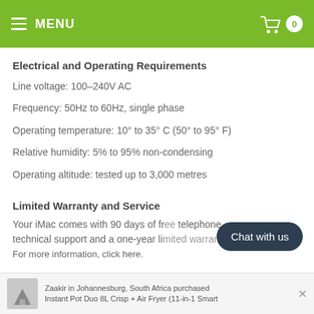MENU | 0
Electrical and Operating Requirements
Line voltage: 100–240V AC
Frequency: 50Hz to 60Hz, single phase
Operating temperature: 10° to 35° C (50° to 95° F)
Relative humidity: 5% to 95% non-condensing
Operating altitude: tested up to 3,000 metres
Limited Warranty and Service
Your iMac comes with 90 days of free telephone technical support and a one-year li... For more information, click here.
Chat with us
Zaakir in Johannesburg, South Africa purchased Instant Pot Duo 8L Crisp + Air Fryer (11-in-1 Smart